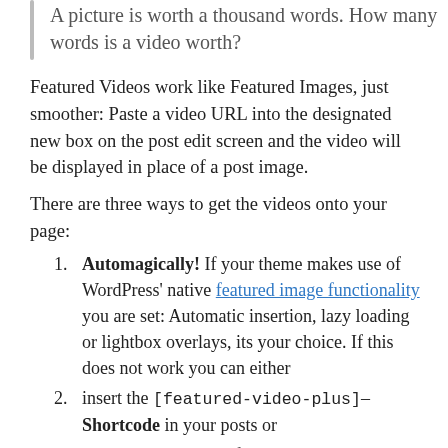A picture is worth a thousand words. How many words is a video worth?
Featured Videos work like Featured Images, just smoother: Paste a video URL into the designated new box on the post edit screen and the video will be displayed in place of a post image.
There are three ways to get the videos onto your page:
Automagically! If your theme makes use of WordPress' native featured image functionality you are set: Automatic insertion, lazy loading or lightbox overlays, its your choice. If this does not work you can either
insert the [featured-video-plus]–Shortcode in your posts or
manually make use of the PHP-functions in your theme's source files.